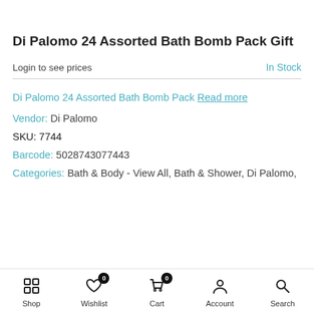Di Palomo 24 Assorted Bath Bomb Pack Gift
Login to see prices
In Stock
Di Palomo 24 Assorted Bath Bomb Pack Read more
Vendor: Di Palomo
SKU: 7744
Barcode: 5028743077443
Categories: Bath & Body - View All, Bath & Shower, Di Palomo,
Shop  Wishlist  Cart  Account  Search